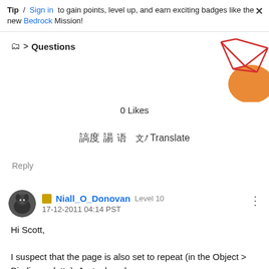Tip / Sign in to gain points, level up, and earn exciting badges like the new Bedrock Mission!
Questions
[Figure (illustration): Decorative geometric illustration with red triangular shapes and orange oval in top right corner]
0 Likes
Translate
Reply
Niall_O_Donovan Level 10 17-12-2011 04:14 PST
Hi Scott,

I suspect that the page is also set to repeat (in the Object > Binding palette). Just a hunch...
😊

Niall